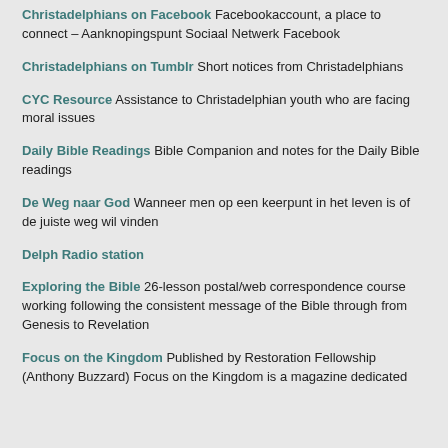Christadelphians on Facebook Facebookaccount, a place to connect – Aanknopingspunt Sociaal Netwerk Facebook
Christadelphians on Tumblr Short notices from Christadelphians
CYC Resource Assistance to Christadelphian youth who are facing moral issues
Daily Bible Readings Bible Companion and notes for the Daily Bible readings
De Weg naar God Wanneer men op een keerpunt in het leven is of de juiste weg wil vinden
Delph Radio station
Exploring the Bible 26-lesson postal/web correspondence course working following the consistent message of the Bible through from Genesis to Revelation
Focus on the Kingdom Published by Restoration Fellowship (Anthony Buzzard) Focus on the Kingdom is a magazine dedicated to spreading the Gospel of the Kingdom throughout the world